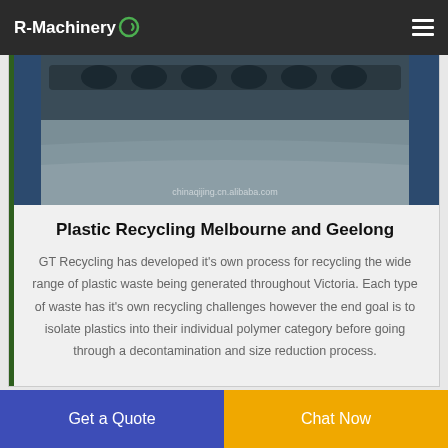R-Machinery
[Figure (photo): Industrial plastic recycling machine interior showing rollers and blue metal housing, with watermark 'chinaqijing.cn.alibaba.com']
Plastic Recycling Melbourne and Geelong
GT Recycling has developed it's own process for recycling the wide range of plastic waste being generated throughout Victoria. Each type of waste has it's own recycling challenges however the end goal is to isolate plastics into their individual polymer category before going through a decontamination and size reduction process.
Get a Quote
Chat Now